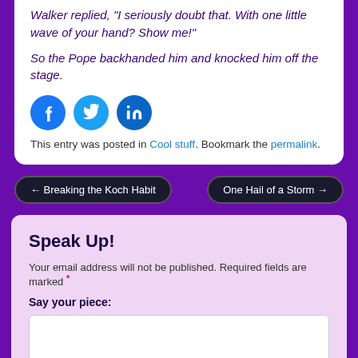Walker replied, "I seriously doubt that. With one little wave of your hand? Show me!"
So the Pope backhanded him and knocked him off the stage.
[Figure (infographic): Three circular social media share buttons: Facebook (blue), Twitter (light blue), LinkedIn (dark blue)]
This entry was posted in Cool stuff. Bookmark the permalink.
← Breaking the Koch Habit
One Hail of a Storm →
Speak Up!
Your email address will not be published. Required fields are marked *
Say your piece: